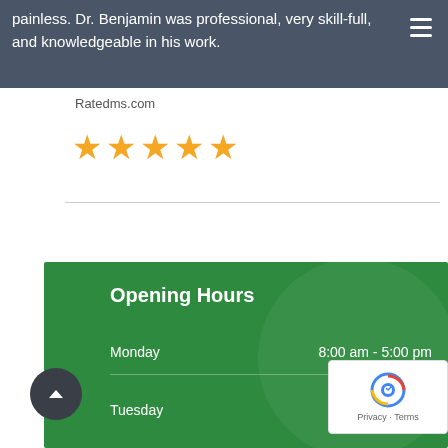painless. Dr. Benjamin was professional, very skill-full, and knowledgeable in his work.
Ratedms.com
[Figure (other): Five gold star rating icons]
Opening Hours
Monday    8:00 am - 5:00 pm
Tuesday   9:00 am - 8:00